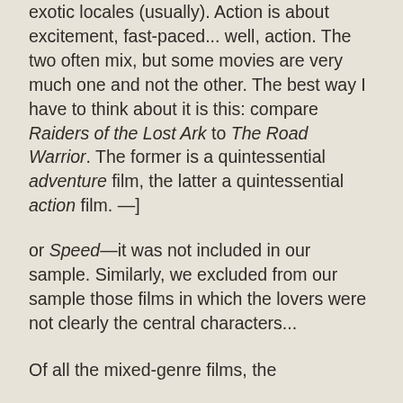exotic locales (usually). Action is about excitement, fast-paced... well, action. The two often mix, but some movies are very much one and not the other. The best way I have to think about it is this: compare Raiders of the Lost Ark to The Road Warrior. The former is a quintessential adventure film, the latter a quintessential action film. —]
or Speed—it was not included in our sample. Similarly, we excluded from our sample those films in which the lovers were not clearly the central characters...
Of all the mixed-genre films, the